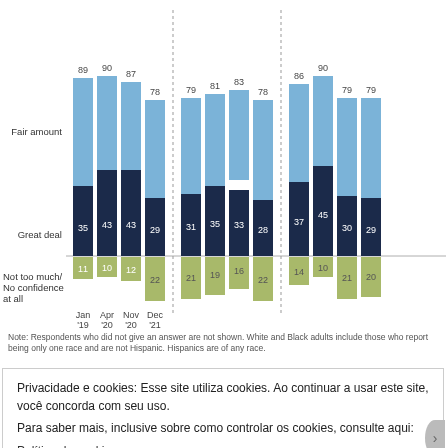[Figure (grouped-bar-chart): Confidence in scientists (% Great deal + Fair amount / Not too much / No confidence at all)]
Note: Respondents who did not give an answer are not shown. White and Black adults include those who report being only one race and are not Hispanic. Hispanics are of any race.
Privacidade e cookies: Esse site utiliza cookies. Ao continuar a usar este site, você concorda com seu uso.
Para saber mais, inclusive sobre como controlar os cookies, consulte aqui:
Política de cookies